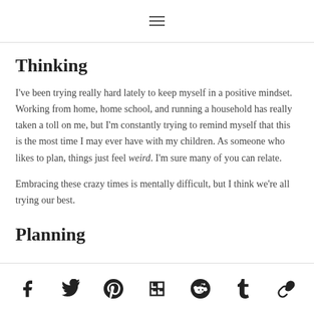[hamburger menu icon]
had all of the windows and doors replaced, upgraded to a brand-new fridge, and have been doing endless trim work. It's weird – life is so much less hectic, but we've been staying very busy.
Thinking
I've been trying really hard lately to keep myself in a positive mindset. Working from home, home school, and running a household has really taken a toll on me, but I'm constantly trying to remind myself that this is the most time I may ever have with my children. As someone who likes to plan, things just feel weird. I'm sure many of you can relate.
Embracing these crazy times is mentally difficult, but I think we're all trying our best.
Planning
[social icons: Facebook, Twitter, Pinterest, Flipboard, Reddit, Tumblr, Link]